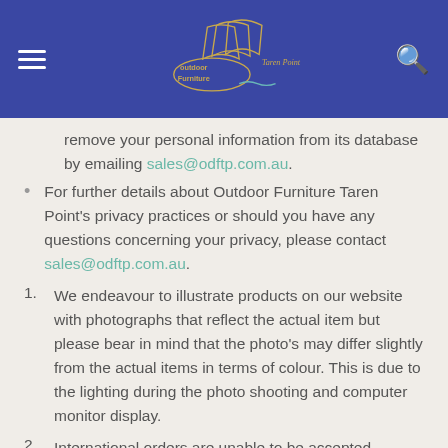[Figure (logo): Outdoor Furniture Taren Point logo with sailing ship silhouette on blue header background]
remove your personal information from its database by emailing sales@odftp.com.au.
For further details about Outdoor Furniture Taren Point's privacy practices or should you have any questions concerning your privacy, please contact sales@odftp.com.au.
We endeavour to illustrate products on our website with photographs that reflect the actual item but please bear in mind that the photo's may differ slightly from the actual items in terms of colour. This is due to the lighting during the photo shooting and computer monitor display.
International orders are unable to be accepted.